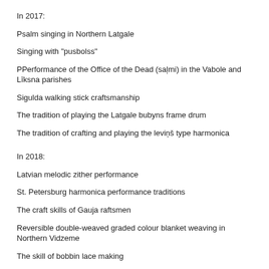In 2017:
Psalm singing in Northern Latgale
Singing with "pusbolss"
PPerformance of the Office of the Dead (saļmi) in the Vabole and Līksna parishes
Sigulda walking stick craftsmanship
The tradition of playing the Latgale bubyns frame drum
The tradition of crafting and playing the leviņš type harmonica
In 2018:
Latvian melodic zither performance
St. Petersburg harmonica performance traditions
The craft skills of Gauja raftsmen
Reversible double-weaved graded colour blanket weaving in Northern Vidzeme
The skill of bobbin lace making
The Livonian cultural space
The Rucava traditional cultural space
The k...